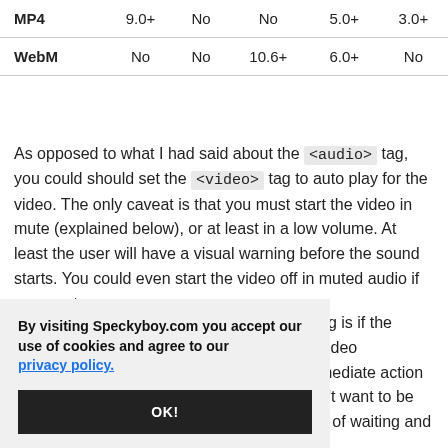| MP4 | 9.0+ | No | No | 5.0+ | 3.0+ |
| WebM | No | No | 10.6+ | 6.0+ | No |
As opposed to what I had said about the <audio> tag, you could should set the <video> tag to auto play for the video. The only caveat is that you must start the video in mute (explained below), or at least in a low volume. At least the user will have a visual warning before the sound starts. You could even start the video off in muted audio if you want.
By visiting Speckyboy.com you accept our use of cookies and agree to our privacy policy.
OK!
ag is if the video mediate action n't want to be d of waiting and